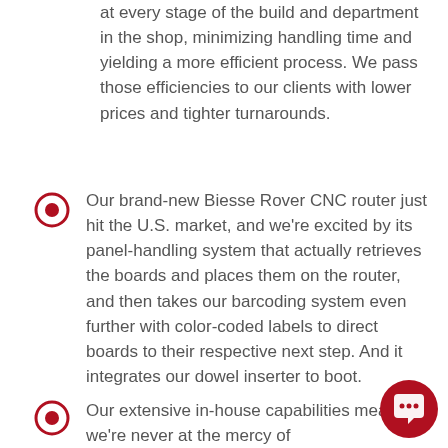at every stage of the build and department in the shop, minimizing handling time and yielding a more efficient process. We pass those efficiencies to our clients with lower prices and tighter turnarounds.
Our brand-new Biesse Rover CNC router just hit the U.S. market, and we're excited by its panel-handling system that actually retrieves the boards and places them on the router, and then takes our barcoding system even further with color-coded labels to direct boards to their respective next step. And it integrates our dowel inserter to boot.
Our extensive in-house capabilities mean we're never at the mercy of...